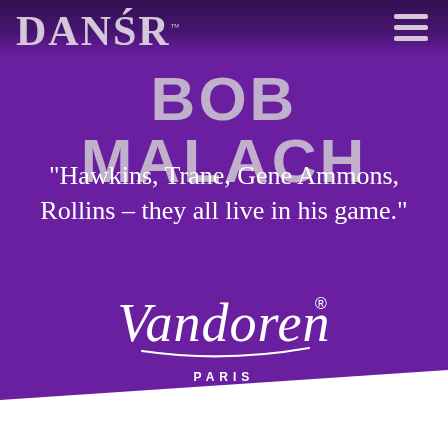[Figure (logo): DANSR brand logo in large serif font, top-left corner, with TM mark]
[Figure (infographic): Hamburger menu icon (three horizontal lines) in top-right corner]
BOB MALACH
“Hawkins, Trane, Gene Ammons, Rollins – they all live in his game.”
[Figure (logo): Vandoren Paris logo in cursive script with registered trademark symbol and PARIS text below, on purple background]